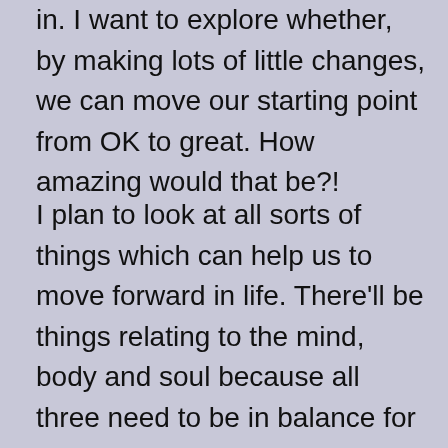in. I want to explore whether, by making lots of little changes, we can move our starting point from OK to great. How amazing would that be?!
I plan to look at all sorts of things which can help us to move forward in life. There'll be things relating to the mind, body and soul because all three need to be in balance for us to be the happiest and healthiest versions of ourselves that we can be. I'll be looking for the tiny tweaks we can fit into our day without taking up too much time or requiring too much effort. If I can, I'll explain the logic or the